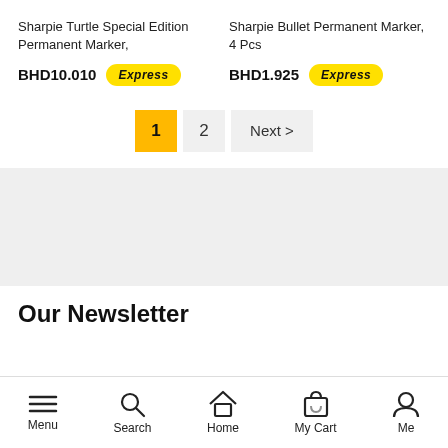Sharpie Turtle Special Edition Permanent Marker,
Sharpie Bullet Permanent Marker, 4 Pcs
BHD10.010
[Figure (logo): Express delivery badge (yellow pill shape with 'Express' text in italic bold)]
BHD1.925
[Figure (logo): Express delivery badge (yellow pill shape with 'Express' text in italic bold)]
1  2  Next >
[Figure (other): Gray background section (empty content area)]
Our Newsletter
Menu  Search  Home  My Cart  Me